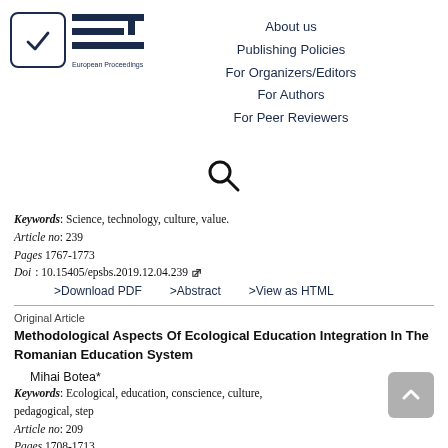[Figure (logo): European Proceedings logo with checkmark icon and EP abbreviation text]
About us
Publishing Policies
For Organizers/Editors
For Authors
For Peer Reviewers
[Figure (other): Search icon (magnifying glass)]
Keywords: Science, technology, culture, value.
Article no: 239
Pages 1767-1773
Doi: 10.15405/epsbs.2019.12.04.239
>Download PDF   >Abstract   >View as HTML
Original Article
Methodological Aspects Of Ecological Education Integration In The Romanian Education System
Mihai Botea*
Keywords: Ecological, education, conscience, culture, pedagogical, step
Article no: 209
Pages 1708-1713
Doi: 10.15405/epsbs.2019.08.03.209